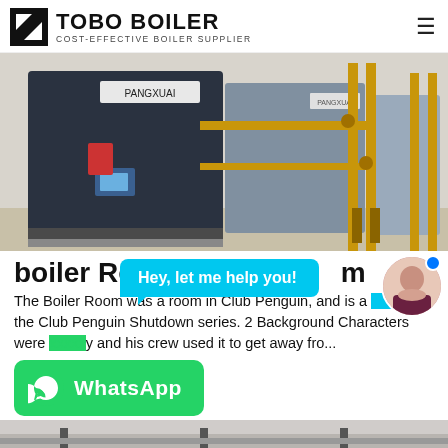TOBO BOILER — COST-EFFECTIVE BOILER SUPPLIER
[Figure (photo): Industrial boiler room with large dark blue gas boilers labeled PANGXUAI, connected by yellow/copper pipes, in a factory setting]
boiler Room [obscured] m
Hey, let me help you!
The Boiler Room was a room in Club Penguin, and is a [portion] of the Club Penguin Shutdown series. 2 Background Characters were [shown] and his crew used it to get away fro...
WhatsApp
[Figure (photo): Bottom partial photo of an indoor mechanical/boiler room ceiling area]